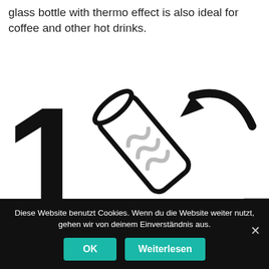glass bottle with thermo effect is also ideal for coffee and other hot drinks.
[Figure (illustration): Large bold number '1' on the left, and an illustration of a tilted cylindrical bottle/container with a curved arrow indicating rotation/opening on the right.]
Diese Website benutzt Cookies. Wenn du die Website weiter nutzt, gehen wir von deinem Einverständnis aus.
OK  Weiterlesen